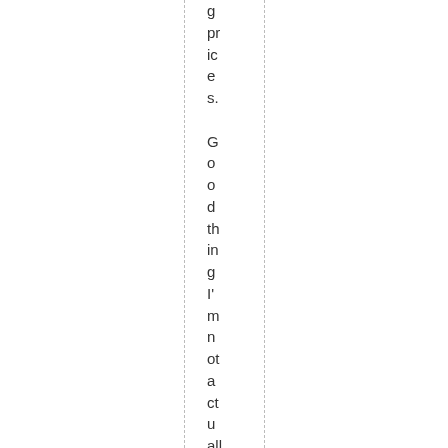g prices. Good thing I'm not actually adding him m